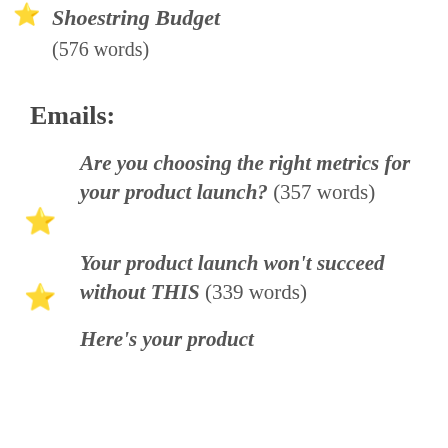Shoestring Budget (576 words)
Emails:
Are you choosing the right metrics for your product launch? (357 words)
Your product launch won't succeed without THIS (339 words)
Here's your product